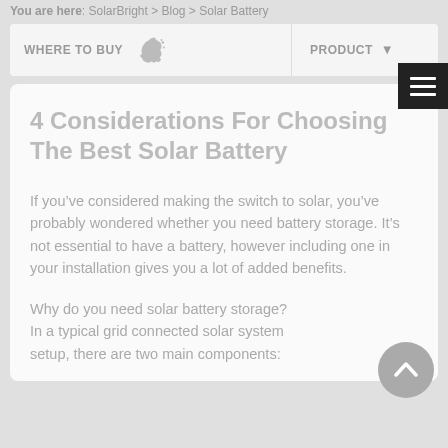You are here: SolarBright > Blog > Solar Battery
WHERE TO BUY   PRODUCT
4 Considerations For Choosing The Best Solar Battery
If you’ve considered making the switch to solar, you’ve probably wondered whether you need battery storage. It’s not essential to have a battery, however including one in your installation gives you a lot of added benefits.
Why do you need solar battery storage? In a typical grid connected solar system setup, there are two main components: